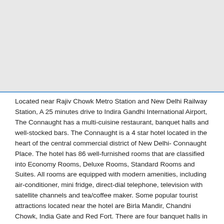[Figure (photo): Hotel photograph or image area (light gray placeholder at top of page)]
Located near Rajiv Chowk Metro Station and New Delhi Railway Station, A 25 minutes drive to Indira Gandhi International Airport, The Connaught has a multi-cuisine restaurant, banquet halls and well-stocked bars. The Connaught is a 4 star hotel located in the heart of the central commercial district of New Delhi- Connaught Place. The hotel has 86 well-furnished rooms that are classified into Economy Rooms, Deluxe Rooms, Standard Rooms and Suites. All rooms are equipped with modern amenities, including air-conditioner, mini fridge, direct-dial telephone, television with satellite channels and tea/coffee maker. Some popular tourist attractions located near the hotel are Birla Mandir, Chandni Chowk, India Gate and Red Fort. There are four banquet halls in the hotel - The Deck, Apni Dilli, The Summit and Regent, where business guests can conduct seminars, conferences,